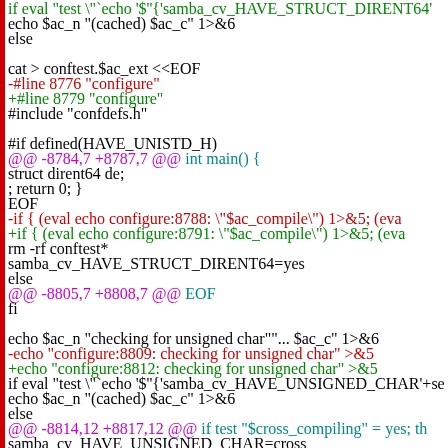[Figure (screenshot): Diff output showing shell script and C code changes related to samba configure script, with red/green diff markers and magenta @@ hunk headers. Shows checks for HAVE_STRUCT_DIRENT64 and HAVE_UNSIGNED_CHAR.]